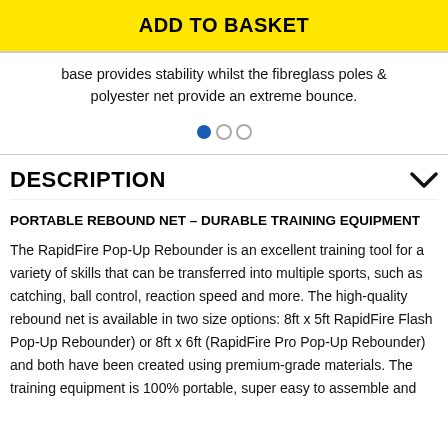ADD TO BASKET
base provides stability whilst the fibreglass poles & polyester net provide an extreme bounce.
[Figure (other): Carousel pagination dots: one filled blue dot and two empty circles]
DESCRIPTION
PORTABLE REBOUND NET – DURABLE TRAINING EQUIPMENT
The RapidFire Pop-Up Rebounder is an excellent training tool for a variety of skills that can be transferred into multiple sports, such as catching, ball control, reaction speed and more. The high-quality rebound net is available in two size options: 8ft x 5ft RapidFire Flash Pop-Up Rebounder) or 8ft x 6ft (RapidFire Pro Pop-Up Rebounder) and both have been created using premium-grade materials. The training equipment is 100% portable, super easy to assemble and